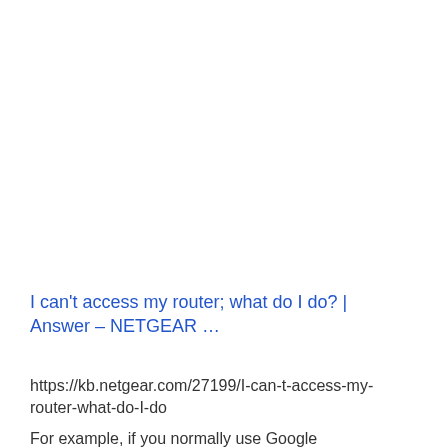I can't access my router; what do I do? | Answer – NETGEAR …
https://kb.netgear.com/27199/I-can-t-access-my-router-what-do-I-do
For example, if you normally use Google